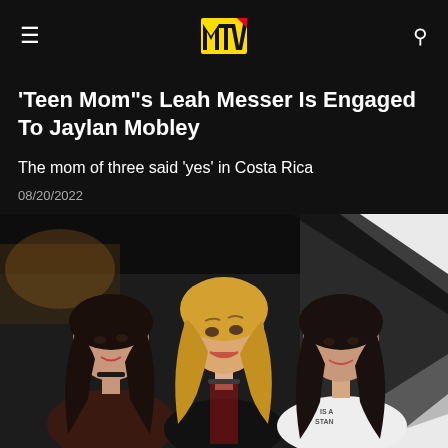MTV
'Teen Mom"s Leah Messer Is Engaged To Jaylan Mobley
The mom of three said 'yes' in Costa Rica
08/20/2022
[Figure (photo): Three young women posing together in a dark venue with black and white geometric decor. The woman in the center has blonde wavy hair and is looking upward, wearing a black top with red details. The women on either side have dark hair.]